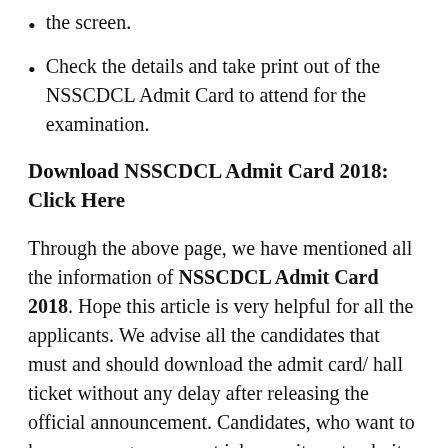the screen.
Check the details and take print out of the NSSCDCL Admit Card to attend for the examination.
Download NSSCDCL Admit Card 2018: Click Here
Through the above page, we have mentioned all the information of NSSCDCL Admit Card 2018. Hope this article is very helpful for all the applicants. We advise all the candidates that must and should download the admit card/ hall ticket without any delay after releasing the official announcement. Candidates, who want to know more government job recruitment, admit cards, result syllabus, previous papers, result etc. Visit our website SarkariRecruitment.com